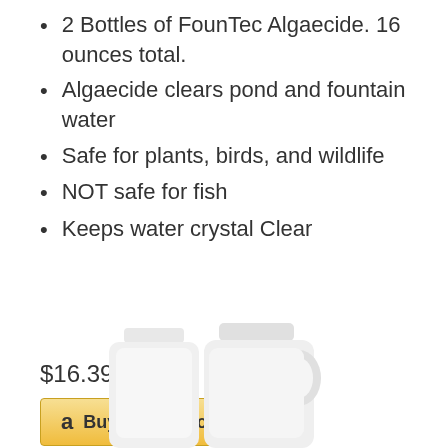2 Bottles of FounTec Algaecide. 16 ounces total.
Algaecide clears pond and fountain water
Safe for plants, birds, and wildlife
NOT safe for fish
Keeps water crystal Clear
$16.39 Prime
[Figure (screenshot): Buy on Amazon button with Amazon logo]
[Figure (photo): Two white plastic bottles of FounTec Algaecide product]